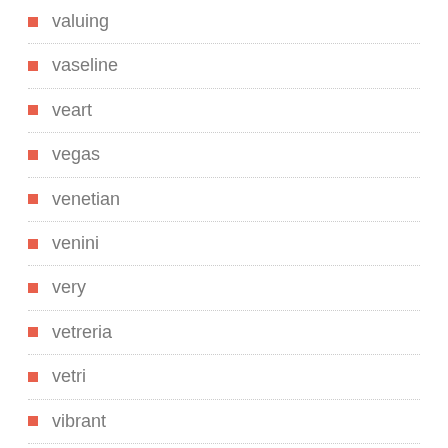valuing
vaseline
veart
vegas
venetian
venini
very
vetreria
vetri
vibrant